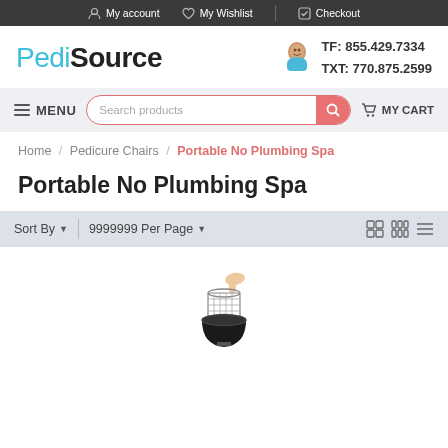My account  My Wishlist  Checkout
[Figure (logo): PediSource logo with customer service icon and contact info: TF: 855.429.7334, TXT: 770.875.2599]
MENU   Search products   MY CART
Home / Pedicure Chairs / Portable No Plumbing Spa
Portable No Plumbing Spa
Sort By  9999999 Per Page
[Figure (photo): Portable no plumbing spa foot basin with hand holding accessory, black tub with metal wire basket insert]